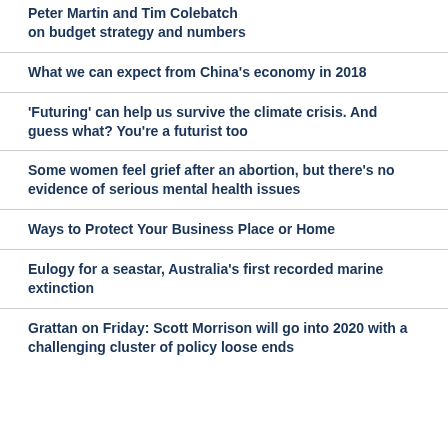Peter Martin and Tim Colebatch on budget strategy and numbers
What we can expect from China's economy in 2018
'Futuring' can help us survive the climate crisis. And guess what? You're a futurist too
Some women feel grief after an abortion, but there's no evidence of serious mental health issues
Ways to Protect Your Business Place or Home
Eulogy for a seastar, Australia's first recorded marine extinction
Grattan on Friday: Scott Morrison will go into 2020 with a challenging cluster of policy loose ends